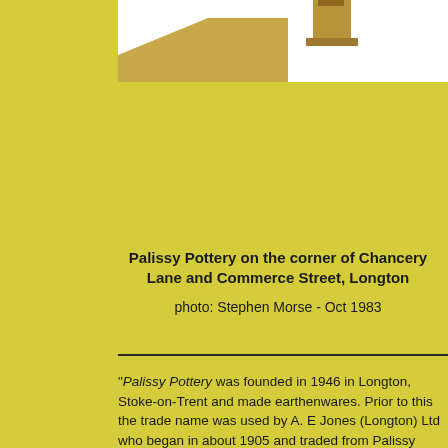[Figure (photo): Partial view of Palissy Pottery building showing rooftop and chimney structure, brick/tan colored building against white background]
Palissy Pottery on the corner of Chancery Lane and Commerce Street, Longton

photo:  Stephen Morse - Oct 1983
"Palissy Pottery was founded in 1946 in Longton, Stoke-on-Trent and made earthenwares. Prior to this the trade name was used by A. E Jones (Longton) Ltd who began in about 1905 and traded from Palissy Pottery from 1930. Spode and Royal Worcester merged to form a new company in July 1976 known as Royal Worcester Spode